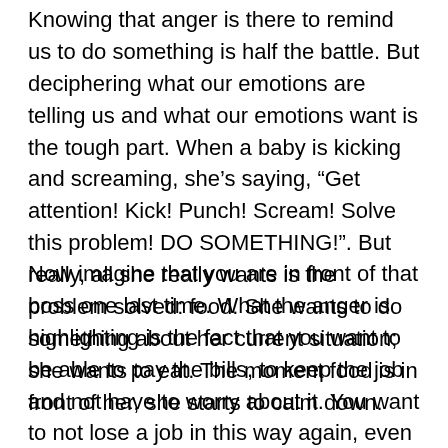Knowing that anger is there to remind us to do something is half the battle. But deciphering what our emotions are telling us and what our emotions want is the tough part. When a baby is kicking and screaming, she's saying, “Get attention! Kick! Punch! Scream! Solve this problem! DO SOMETHING!”. But really, all she really wants is the problem solved: food. She wants to do something about her current situation; she wants to eat. The moment food is in front of her, she starts to calm down.
Now imagine that you are in front of that boss one last time. What the anger is highlighting is the fact that you want to be able to pay the bills, to keep the job and not have to worry about it. You want to not lose a job in this way again, even though the anger is also saying kick, punch, scream. If you convince the boss to let you keep